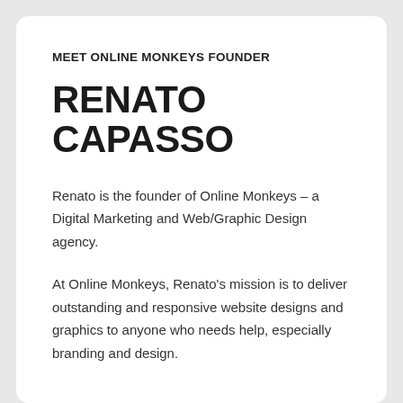MEET ONLINE MONKEYS FOUNDER
RENATO CAPASSO
Renato is the founder of Online Monkeys – a Digital Marketing and Web/Graphic Design agency.
At Online Monkeys, Renato's mission is to deliver outstanding and responsive website designs and graphics to anyone who needs help, especially branding and design.